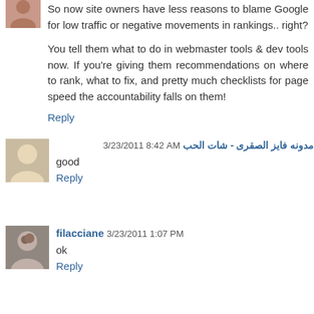So now site owners have less reasons to blame Google for low traffic or negative movements in rankings.. right?
You tell them what to do in webmaster tools & dev tools now. If you're giving them recommendations on where to rank, what to fix, and pretty much checklists for page speed the accountability falls on them!
Reply
مدونه فايز الصقرى - شات الحب 3/23/2011 8:42 AM
good
Reply
filacciane 3/23/2011 1:07 PM
ok
Reply